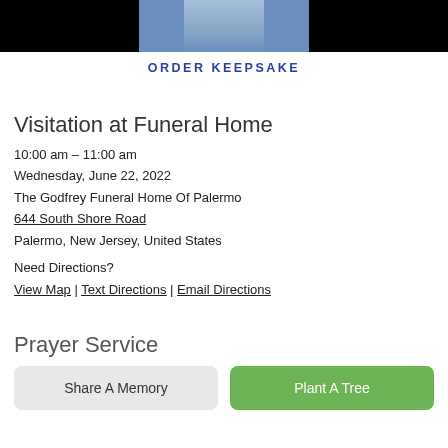[Figure (photo): Partial photo of a person wearing a denim shirt, shown from the waist up against a black background]
ORDER KEEPSAKE
Visitation at Funeral Home
10:00 am – 11:00 am
Wednesday, June 22, 2022
The Godfrey Funeral Home Of Palermo
644 South Shore Road
Palermo, New Jersey, United States
Need Directions?
View Map | Text Directions | Email Directions
Prayer Service
Share A Memory
Plant A Tree